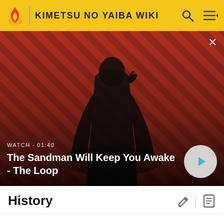KIMETSU NO YAIBA WIKI
[Figure (screenshot): Video thumbnail showing a dark-cloaked figure with a raven on their shoulder against a red diagonal-striped background. Overlay text reads 'WATCH · 01:40' and title 'The Sandman Will Keep You Awake - The Loop'. A circular play button is visible at bottom right.]
History
Hisa's family was once saved by the Demon Slayers. They started managing a free rest house for them as a token of